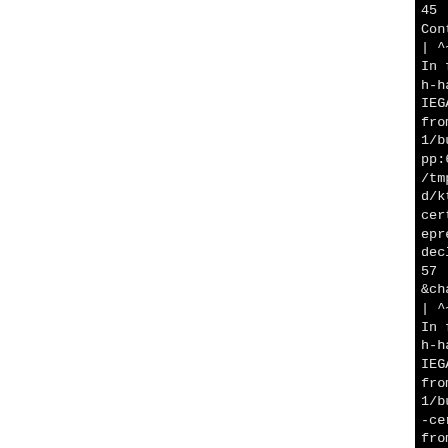[Figure (screenshot): Terminal/compiler output showing C++ compiler error messages on a black background. The left portion of the page is white (blank). The right portion shows truncated compiler diagnostic output including references to handleChannels, ContextPtr, tls-cert-verifier, showSslDialog, QList<KSslError, and various file paths under /tmp/B.9l_u6r68/BUILD/ktp-auth-handler.]